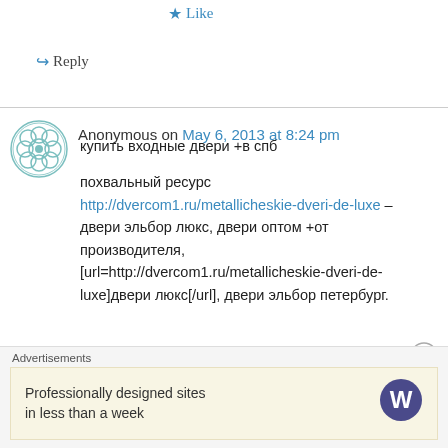★ Like
↪ Reply
Anonymous on May 6, 2013 at 8:24 pm
купить входные двери +в спб

похвальный ресурс http://dvercom1.ru/metallicheskie-dveri-de-luxe – двери эльбор люкс, двери оптом +от производителя, [url=http://dvercom1.ru/metallicheskie-dveri-de-luxe]двери люкс[/url], двери эльбор петербург.
Advertisements
Professionally designed sites in less than a week